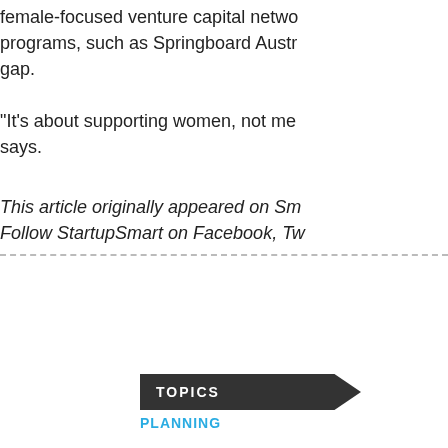female-focused venture capital networks and programs, such as Springboard Austr… gap.
“It’s about supporting women, not me… says.
This article originally appeared on Sm… Follow StartupSmart on Facebook, Tw…
[Figure (infographic): Share This Article box with Facebook Like (0), LinkedIn Share, and Twitter Tweet buttons, plus a Topics section with a Planning link]
TOPICS
PLANNING